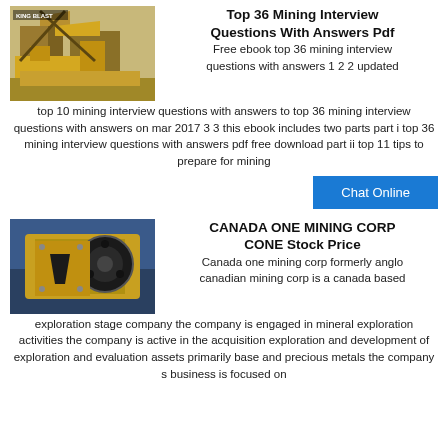[Figure (photo): Yellow mining/crushing equipment at an industrial site with banner 'KING BLAST']
Top 36 Mining Interview Questions With Answers Pdf
Free ebook top 36 mining interview questions with answers 1 2 2 updated top 10 mining interview questions with answers to top 36 mining interview questions with answers on mar 2017 3 3 this ebook includes two parts part i top 36 mining interview questions with answers pdf free download part ii top 11 tips to prepare for mining
Chat Online
[Figure (photo): Yellow jaw crusher mining equipment in a blue warehouse/industrial setting]
CANADA ONE MINING CORP CONE Stock Price
Canada one mining corp formerly anglo canadian mining corp is a canada based exploration stage company the company is engaged in mineral exploration activities the company is active in the acquisition exploration and development of exploration and evaluation assets primarily base and precious metals the company s business is focused on